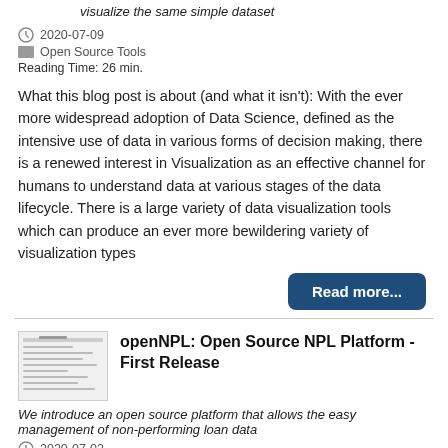visualize the same simple dataset
2020-07-09
Open Source Tools
Reading Time: 26 min.
What this blog post is about (and what it isn't): With the ever more widespread adoption of Data Science, defined as the intensive use of data in various forms of decision making, there is a renewed interest in Visualization as an effective channel for humans to understand data at various stages of the data lifecycle. There is a large variety of data visualization tools which can produce an ever more bewildering variety of visualization types
Read more...
openNPL: Open Source NPL Platform - First Release
We introduce an open source platform that allows the easy management of non-performing loan data
2020-07-02